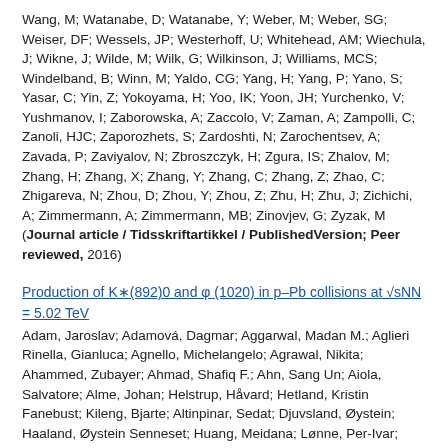Wang, M; Watanabe, D; Watanabe, Y; Weber, M; Weber, SG; Weiser, DF; Wessels, JP; Westerhoff, U; Whitehead, AM; Wiechula, J; Wikne, J; Wilde, M; Wilk, G; Wilkinson, J; Williams, MCS; Windelband, B; Winn, M; Yaldo, CG; Yang, H; Yang, P; Yano, S; Yasar, C; Yin, Z; Yokoyama, H; Yoo, IK; Yoon, JH; Yurchenko, V; Yushmanov, I; Zaborowska, A; Zaccolo, V; Zaman, A; Zampolli, C; Zanoli, HJC; Zaporozhets, S; Zardoshti, N; Zarochentsev, A; Zavada, P; Zaviyalov, N; Zbroszczyk, H; Zgura, IS; Zhalov, M; Zhang, H; Zhang, X; Zhang, Y; Zhang, C; Zhang, Z; Zhao, C; Zhigareva, N; Zhou, D; Zhou, Y; Zhou, Z; Zhu, H; Zhu, J; Zichichi, A; Zimmermann, A; Zimmermann, MB; Zinovjev, G; Zyzak, M (Journal article / Tidsskriftartikkel / PublishedVersion; Peer reviewed, 2016)
Production of K∗(892)0 and φ (1020) in p–Pb collisions at √sNN = 5.02 TeV
Adam, Jaroslav; Adamová, Dagmar; Aggarwal, Madan M.; Aglieri Rinella, Gianluca; Agnello, Michelangelo; Agrawal, Nikita; Ahammed, Zubayer; Ahmad, Shafiq F.; Ahn, Sang Un; Aiola, Salvatore; Alme, Johan; Helstrup, Håvard; Hetland, Kristin Fanebust; Kileng, Bjarte; Altinpinar, Sedat; Djuvsland, Øystein; Haaland, Øystein Senneset; Huang, Meidana; Lønne, Per-Ivar; Nystrand, Joakim; Rehman, Attiq ur; Røhrich, Dieter; Tambave, Ganesh Jagannath; Ullaland, Kjetil;